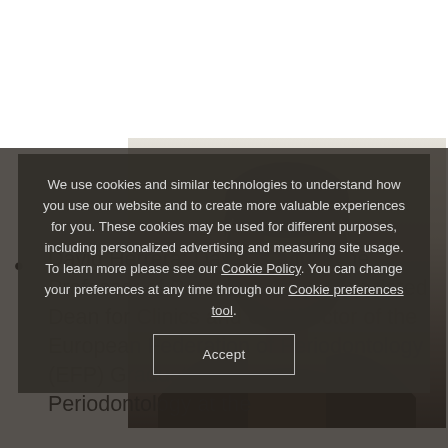[Figure (photo): Portrait photo of a man (David Herrera) shown in grayscale/dark tones against a light background, positioned in the upper-right area of the page]
David Herrera: David is a full-time Professor of Periodontology, Associated Dean for Clinics and Co-Director of the European Federation of Periodontology (EFP) Graduate Program in Periodontology at the
We use cookies and similar technologies to understand how you use our website and to create more valuable experiences for you. These cookies may be used for different purposes, including personalized advertising and measuring site usage. To learn more please see our Cookie Policy. You can change your preferences at any time through our Cookie preferences tool.